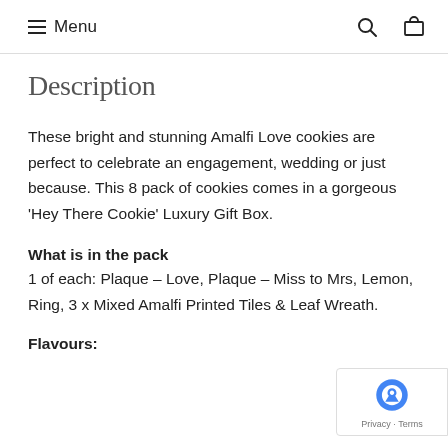≡ Menu
Description
These bright and stunning Amalfi Love cookies are perfect to celebrate an engagement, wedding or just because. This 8 pack of cookies comes in a gorgeous 'Hey There Cookie' Luxury Gift Box.
What is in the pack
1 of each: Plaque – Love, Plaque – Miss to Mrs, Lemon, Ring, 3 x Mixed Amalfi Printed Tiles & Leaf Wreath.
Flavours: